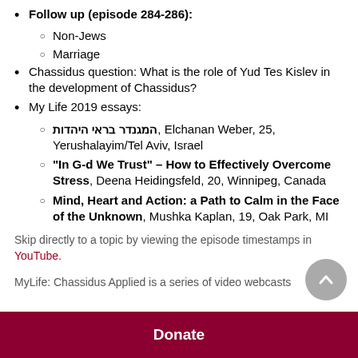Follow up (episode 284-286):
Non-Jews
Marriage
Chassidus question: What is the role of Yud Tes Kislev in the development of Chassidus?
My Life 2019 essays:
המגנדר בראי היהדות, Elchanan Weber, 25, Yerushalayim/Tel Aviv, Israel
"In G-d We Trust" – How to Effectively Overcome Stress, Deena Heidingsfeld, 20, Winnipeg, Canada
Mind, Heart and Action: a Path to Calm in the Face of the Unknown, Mushka Kaplan, 19, Oak Park, MI
Skip directly to a topic by viewing the episode timestamps in YouTube.
MyLife: Chassidus Applied is a series of video webcasts
Donate